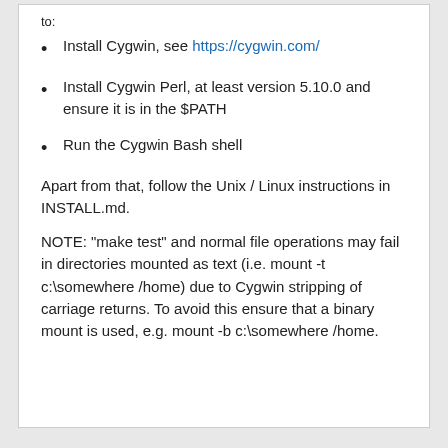Install Cygwin, see https://cygwin.com/
Install Cygwin Perl, at least version 5.10.0 and ensure it is in the $PATH
Run the Cygwin Bash shell
Apart from that, follow the Unix / Linux instructions in INSTALL.md.
NOTE: "make test" and normal file operations may fail in directories mounted as text (i.e. mount -t c:\somewhere /home) due to Cygwin stripping of carriage returns. To avoid this ensure that a binary mount is used, e.g. mount -b c:\somewhere /home.